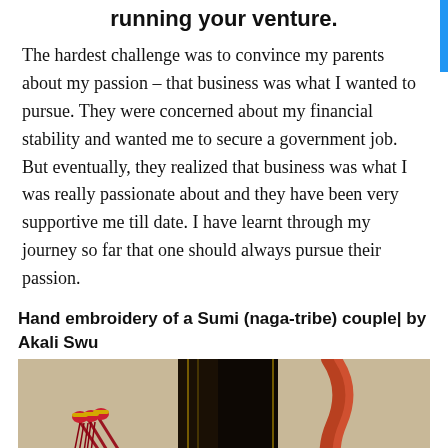running your venture.
The hardest challenge was to convince my parents about my passion – that business was what I wanted to pursue. They were concerned about my financial stability and wanted me to secure a government job. But eventually, they realized that business was what I was really passionate about and they have been very supportive me till date. I have learnt through my journey so far that one should always pursue their passion.
Hand embroidery of a Sumi (naga-tribe) couple| by Akali Swu
[Figure (photo): Photo of hand embroidery of a Sumi naga-tribe couple, showing decorative tassels in red and gold, dark woven fabric, and colorful beaded embroidery details on a beige cloth background.]